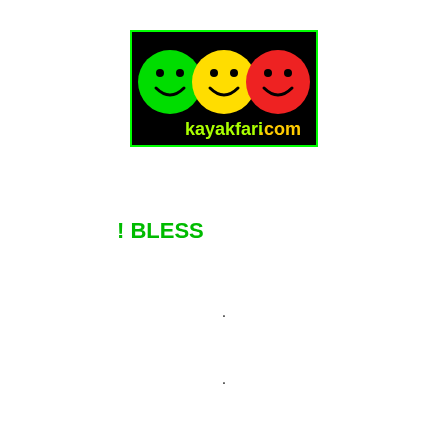[Figure (logo): kayakfari.com logo: black rectangle with green border, three smiley faces (green, yellow, red) and text 'kayakfari.com' in yellow-green below them]
! BLESS
.
.
.
© 2019 Flex Maslan / kayakfari.com / awakenthegrass.com . All original photographs, artworks and music in this portfolio are copyrighted and owned by the artist, Flex Maslan, unless otherwise noted. Any reproduction, modification, publication, transmission, transfer, or exploitation of